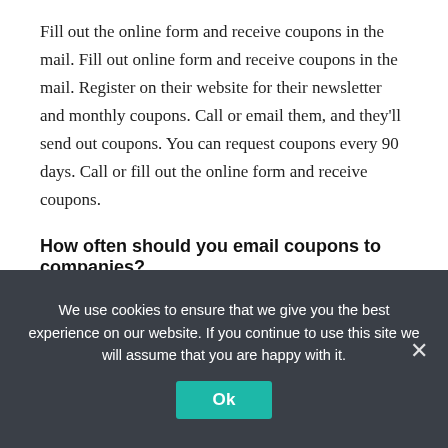Fill out the online form and receive coupons in the mail. Fill out online form and receive coupons in the mail. Register on their website for their newsletter and monthly coupons. Call or email them, and they'll send out coupons. You can request coupons every 90 days. Call or fill out the online form and receive coupons.
How often should you email coupons to companies?
You can email these companies every 6 months or so. (some allow you to order coupons more often than that –
We use cookies to ensure that we give you the best experience on our website. If you continue to use this site we will assume that you are happy with it.